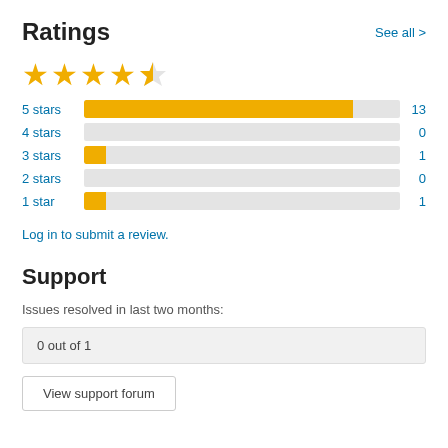Ratings
See all >
[Figure (other): 4.5 out of 5 stars rating display with 4 full gold stars and 1 half gold star]
[Figure (bar-chart): Ratings breakdown]
Log in to submit a review.
Support
Issues resolved in last two months:
0 out of 1
View support forum